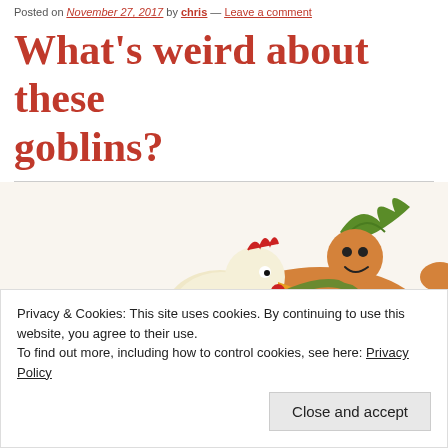Posted on November 27, 2017 by chris — Leave a comment
What's weird about these goblins?
[Figure (illustration): Cartoon illustration of a frightened white chicken being carried or restrained by a goblin-like creature with green hair and orange skin, set against a light background.]
Heart: The City Beneath and its map pack are currently out of stock - sign up to our email if you'd like to be
Privacy & Cookies: This site uses cookies. By continuing to use this website, you agree to their use. To find out more, including how to control cookies, see here: Privacy Policy
Close and accept